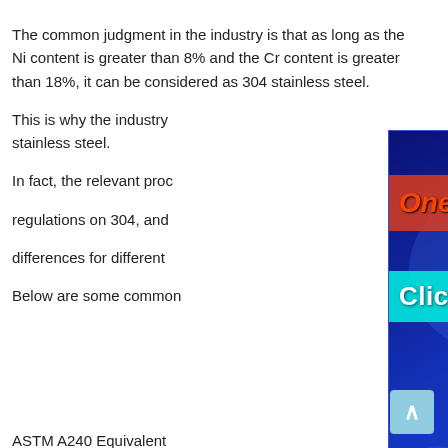The common judgment in the industry is that as long as the Ni content is greater than 8% and the Cr content is greater than 18%, it can be considered as 304 stainless steel. This is why the industry stainless steel. In fact, the relevant proc regulations on 304, and differences for different Below are some common
[Figure (screenshot): Advertisement overlay popup with dark blue background showing 'One-stop shop Steel plate' in red/orange text on red bar, 'Click here for online chat' in white text on cyan bar, 'Contact us' button in purple, and 'admin@gangsteel.com' email in orange. Has an X close button and a scroll-to-top button.]
ASTM A240 Equivalent
| a 240 gr | JIS G4304 | ASTM | UNS | KS | EN 100... |
| --- | --- | --- | --- | --- | --- |
| a 240 gr | JIS G4304 | ASTM | UNS | KS | 100 |
| a 240 gr 201 | SUS201 | 201 | S20100 | STS201 | 1.4... |